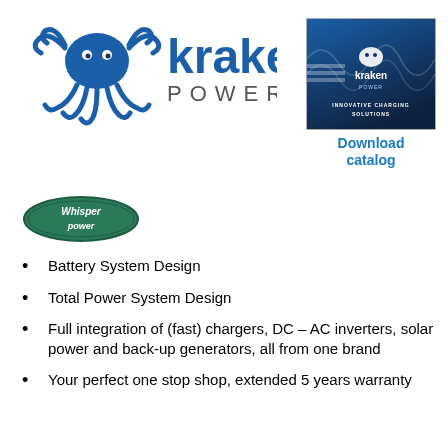[Figure (logo): Kraken Power logo with octopus graphic and blue text reading 'kraken POWER']
[Figure (photo): Kraken Power catalog cover image with 'Download catalog' link below]
[Figure (logo): Whisper Power oval logo in green/teal]
Battery System Design
Total Power System Design
Full integration of (fast) chargers, DC – AC inverters, solar power and back-up generators, all from one brand
Your perfect one stop shop, extended 5 years warranty